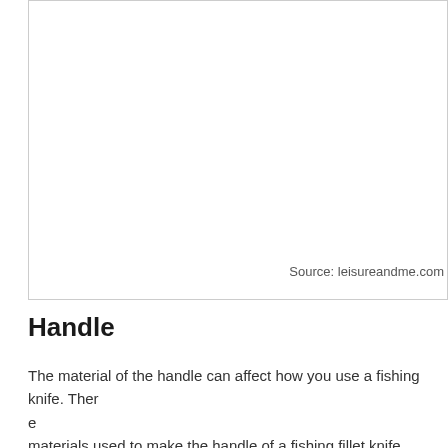[Figure (photo): Image of a fishing fillet knife handle (mostly white/blank area visible)]
Source: leisureandme.com
Handle
The material of the handle can affect how you use a fishing knife. There are materials used to make the handle of a fishing fillet knife, wood, lamina... that's been in use the most and it makes for a good feel in your hands. tends to hold onto more bacteria and it is nor as durable as the other ...